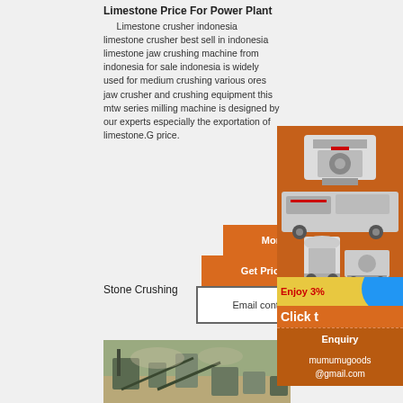Limestone Price For Power Plant
Limestone crusher indonesia limestone crusher best sell in indonesia limestone jaw crushing machine from indonesia for sale indonesia is widely used for medium crushing various ores jaw crusher and crushing equipment this mtw series milling machine is designed by our experts especially the exportation of limestone.G price.
More
Get Price
Email contact
Stone Crushing
[Figure (photo): Industrial mining/stone crushing equipment at a worksite with machinery and dust.]
[Figure (infographic): Orange sidebar advertisement showing stone crushing and milling machines, 'Enjoy 3%' yellow bar with blue circle, 'Click t...' text, Enquiry section, and mumumugoods@gmail.com contact email.]